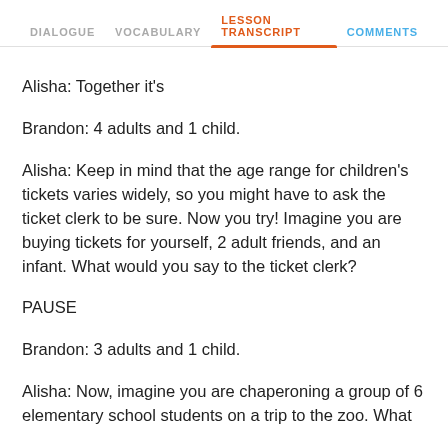DIALOGUE   VOCABULARY   LESSON TRANSCRIPT   COMMENTS
Alisha: Together it's
Brandon: 4 adults and 1 child.
Alisha: Keep in mind that the age range for children's tickets varies widely, so you might have to ask the ticket clerk to be sure. Now you try! Imagine you are buying tickets for yourself, 2 adult friends, and an infant. What would you say to the ticket clerk?
PAUSE
Brandon: 3 adults and 1 child.
Alisha: Now, imagine you are chaperoning a group of 6 elementary school students on a trip to the zoo. What